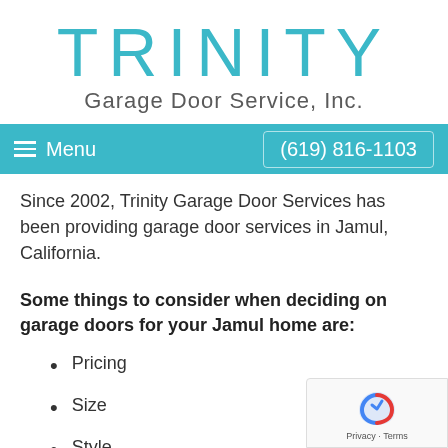TRINITY Garage Door Service, Inc.
Menu  (619) 816-1103
Since 2002, Trinity Garage Door Services has been providing garage door services in Jamul, California.
Some things to consider when deciding on garage doors for your Jamul home are:
Pricing
Size
Style
Color